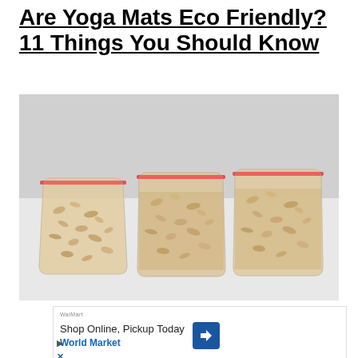Are Yoga Mats Eco Friendly? 11 Things You Should Know
[Figure (photo): Three clear zip-lock bags filled with light-colored grain or oat flakes, arranged in a row on a white background, photographed from above at a slight angle. Each bag has a red zip-lock seal at the top.]
[Figure (infographic): Advertisement banner: Shop Online, Pickup Today — World Market, with a blue diamond-shaped arrow logo icon. Below are play and close (X) icons in blue.]